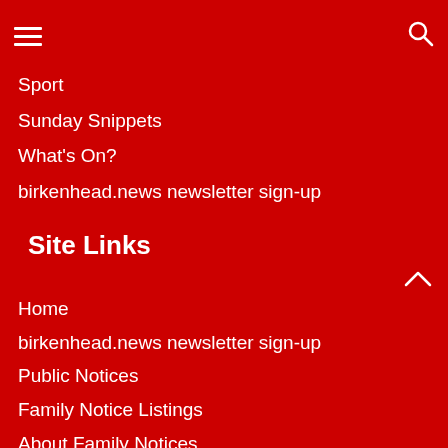[Figure (other): Hamburger menu icon (three horizontal white lines) on red background]
[Figure (other): Search/magnifying glass icon on red background]
Sport
Sunday Snippets
What's On?
birkenhead.news newsletter sign-up
Site Links
Home
birkenhead.news newsletter sign-up
Public Notices
Family Notice Listings
About Family Notices
Place a Family Notice
Advertising
Privacy Policy